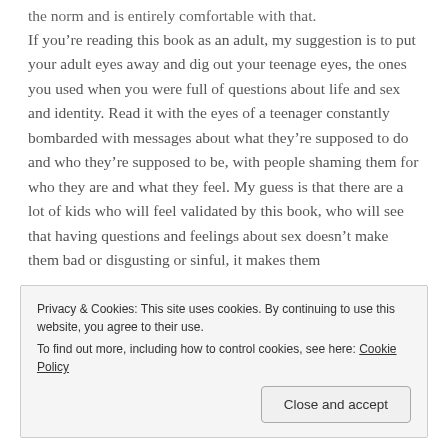the norm and is entirely comfortable with that.
If you’re reading this book as an adult, my suggestion is to put your adult eyes away and dig out your teenage eyes, the ones you used when you were full of questions about life and sex and identity. Read it with the eyes of a teenager constantly bombarded with messages about what they’re supposed to do and who they’re supposed to be, with people shaming them for who they are and what they feel. My guess is that there are a lot of kids who will feel validated by this book, who will see that having questions and feelings about sex doesn’t make them bad or disgusting or sinful, it makes them
Privacy & Cookies: This site uses cookies. By continuing to use this website, you agree to their use.
To find out more, including how to control cookies, see here: Cookie Policy
Close and accept